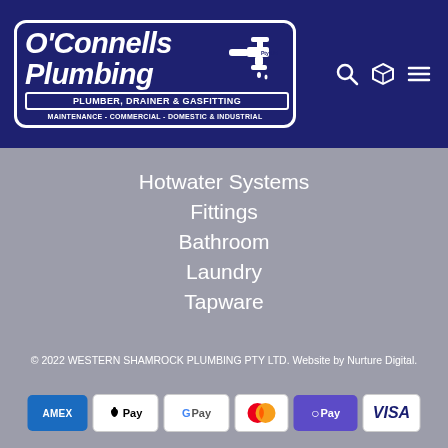[Figure (logo): O'Connells Plumbing Pty Ltd logo with faucet icon, taglines: PLUMBER, DRAINER & GASFITTING and MAINTENANCE - COMMERCIAL - DOMESTIC & INDUSTRIAL]
Hotwater Systems
Fittings
Bathroom
Laundry
Tapware
© 2022 WESTERN SHAMROCK PLUMBING PTY LTD. Website by Nurture Digital.
[Figure (other): Payment method icons: American Express, Apple Pay, Google Pay, Mastercard, oPay, Visa]